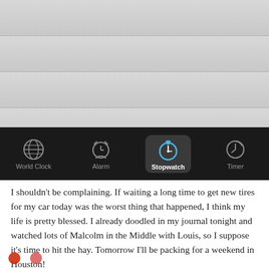[Figure (screenshot): iOS Clock app screenshot showing tab bar with World Clock, Alarm, Stopwatch (active/selected), and Timer tabs. Above the tab bar are four gray striped list rows. The Stopwatch tab is highlighted with a rounded rectangle background and a blue stopwatch icon.]
I shouldn't be complaining. If waiting a long time to get new tires for my car today was the worst thing that happened, I think my life is pretty blessed. I already doodled in my journal tonight and watched lots of Malcolm in the Middle with Louis, so I suppose it's time to hit the hay. Tomorrow I'll be packing for a weekend in Houston!